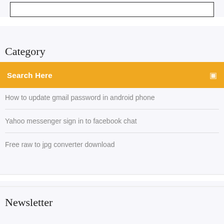[Figure (screenshot): Top portion showing a bordered box outline (partially visible, cropped at top)]
Category
Search Here
How to update gmail password in android phone
Yahoo messenger sign in to facebook chat
Free raw to jpg converter download
Newsletter